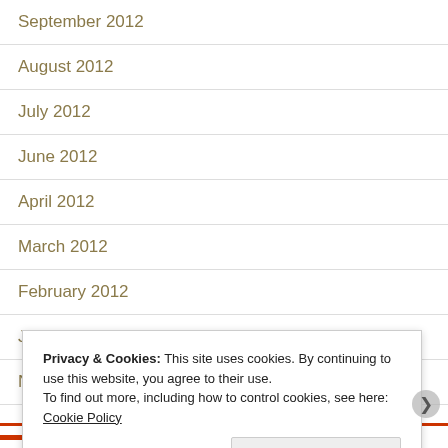September 2012
August 2012
July 2012
June 2012
April 2012
March 2012
February 2012
January 2012
November 2011
Privacy & Cookies: This site uses cookies. By continuing to use this website, you agree to their use. To find out more, including how to control cookies, see here: Cookie Policy
Close and accept